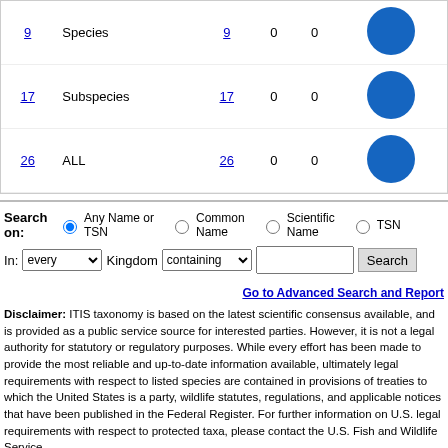| Count | Rank | Count | 0 | 0 |  |
| --- | --- | --- | --- | --- | --- |
| 9 | Species | 9 | 0 | 0 | ● |
| 17 | Subspecies | 17 | 0 | 0 | ● |
| 26 | ALL | 26 | 0 | 0 | ● |
Search on: Any Name or TSN | Common Name | Scientific Name | TSN
In: every Kingdom containing [search box] Search
Go to Advanced Search and Report
Disclaimer: ITIS taxonomy is based on the latest scientific consensus available, and is provided as a public service source for interested parties. However, it is not a legal authority for statutory or regulatory purposes. While every effort has been made to provide the most reliable and up-to-date information available, ultimate legal requirements with respect to listed species are contained in provisions of treaties to which the United States is a party, wildlife statutes, regulations, and applicable notices that have been published in the Federal Register. For further information on U.S. legal requirements with respect to protected taxa, please contact the U.S. Fish and Wildlife Service.
Generated: Thursday, August 18, 2022
Privacy statement and disclaimers
How to cite ITIS
https://itis.gov/servlet/SingleRpt/SingleRpt;jsessionid=2E022755FE22854F089BD19479BF8FD0?search_topic=TSN&search_value=174232#null/